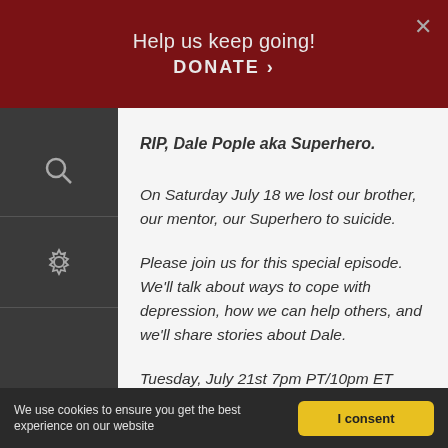Help us keep going! DONATE >
RIP, Dale Pople aka Superhero.
On Saturday July 18 we lost our brother, our mentor, our Superhero to suicide.
Please join us for this special episode. We'll talk about ways to cope with depression, how we can help others, and we'll share stories about Dale.
Tuesday, July 21st 7pm PT/10pm ET
We use cookies to ensure you get the best experience on our website | I consent